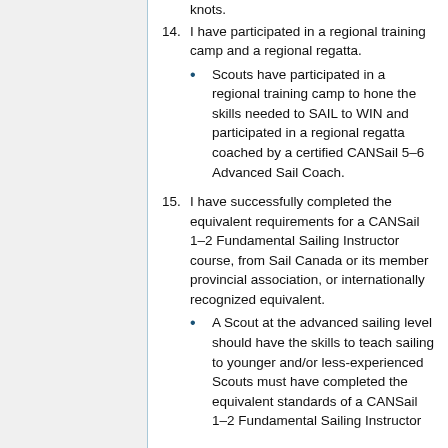knots.
14. I have participated in a regional training camp and a regional regatta.
Scouts have participated in a regional training camp to hone the skills needed to SAIL to WIN and participated in a regional regatta coached by a certified CANSail 5–6 Advanced Sail Coach.
15. I have successfully completed the equivalent requirements for a CANSail 1–2 Fundamental Sailing Instructor course, from Sail Canada or its member provincial association, or internationally recognized equivalent.
A Scout at the advanced sailing level should have the skills to teach sailing to younger and/or less-experienced Scouts must have completed the equivalent standards of a CANSail 1–2 Fundamental Sailing Instructor